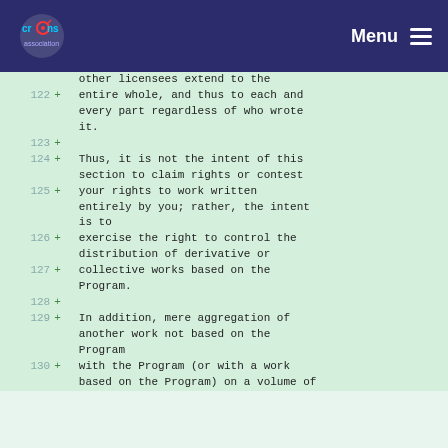CRANS logo and Menu navigation bar
other licensees extend to the
122 + entire whole, and thus to each and
     every part regardless of who wrote
     it.
123 +
124 + Thus, it is not the intent of this
     section to claim rights or contest
125 + your rights to work written
     entirely by you; rather, the intent
     is to
126 + exercise the right to control the
     distribution of derivative or
127 + collective works based on the
     Program.
128 +
129 + In addition, mere aggregation of
     another work not based on the
     Program
130 + with the Program (or with a work
     based on the Program) on a volume of